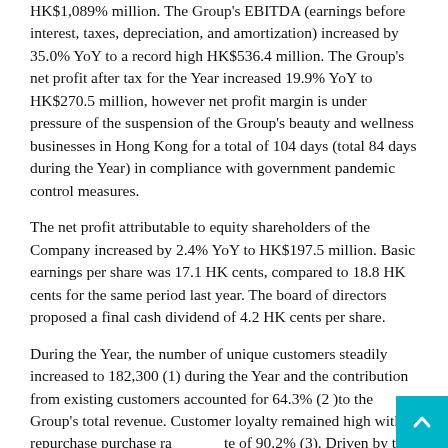HK$1,089% million. The Group's EBITDA (earnings before interest, taxes, depreciation, and amortization) increased by 35.0% YoY to a record high HK$536.4 million. The Group's net profit after tax for the Year increased 19.9% YoY to HK$270.5 million, however net profit margin is under pressure of the suspension of the Group's beauty and wellness businesses in Hong Kong for a total of 104 days (total 84 days during the Year) in compliance with government pandemic control measures.
The net profit attributable to equity shareholders of the Company increased by 2.4% YoY to HK$197.5 million. Basic earnings per share was 17.1 HK cents, compared to 18.8 HK cents for the same period last year. The board of directors proposed a final cash dividend of 4.2 HK cents per share.
During the Year, the number of unique customers steadily increased to 182,300 (1) during the Year and the contribution from existing customers accounted for 64.3% (2 )to the Group's total revenue. Customer loyalty remained high with repurchase purchase rate of 90.2% (3). Driven by the synergies created by the